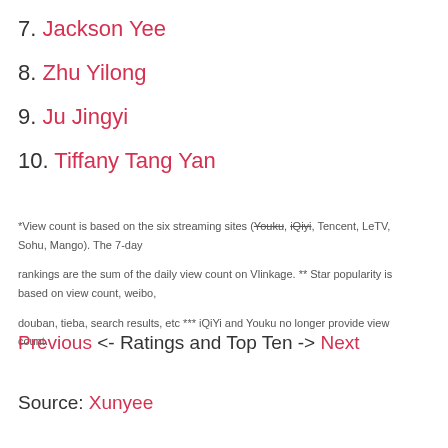7. Jackson Yee
8. Zhu Yilong
9. Ju Jingyi
10. Tiffany Tang Yan
*View count is based on the six streaming sites (Youku, iQiyi, Tencent, LeTV, Sohu, Mango). The 7-day rankings are the sum of the daily view count on Vlinkage. ** Star popularity is based on view count, weibo, douban, tieba, search results, etc *** iQiYi and Youku no longer provide view count.
Previous <- Ratings and Top Ten -> Next
Source: Xunyee